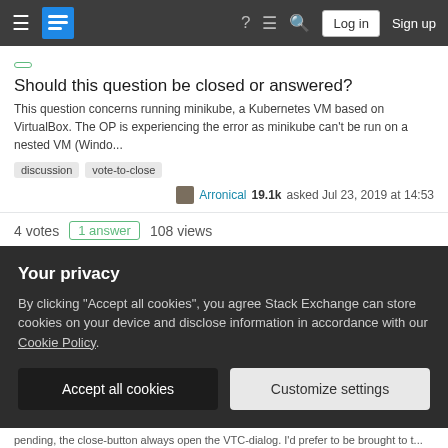Stack Exchange navigation bar with Log in and Sign up buttons
Should this question be closed or answered?
This question concerns running minikube, a Kubernetes VM based on VirtualBox. The OP is experiencing the error as minikube can't be run on a nested VM (Windo...
discussion
vote-to-close
Arronical 19.1k asked Jul 23, 2019 at 14:53
4 votes  1 answer  108 views
Vote to close specifics
I would like to learn about the vote to close. As I understand it, it is a moderator who does so. Does it only take one moderator to make that decision? Is there a link that...
support
vote-to-close
moderators
Your privacy
By clicking "Accept all cookies", you agree Stack Exchange can store cookies on your device and disclose information in accordance with our Cookie Policy.
Accept all cookies
Customize settings
pending, the close-button always open the VTC-dialog. I'd prefer to be brought to t...